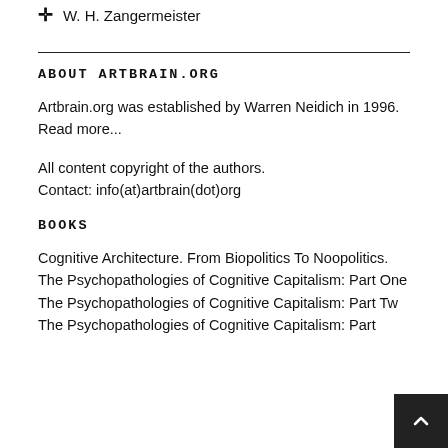✛  W. H. Zangermeister
ABOUT ARTBRAIN.ORG
Artbrain.org was established by Warren Neidich in 1996. Read more...
All content copyright of the authors. Contact: info(at)artbrain(dot)org
BOOKS
Cognitive Architecture. From Biopolitics To Noopolitics.
The Psychopathologies of Cognitive Capitalism: Part One
The Psychopathologies of Cognitive Capitalism: Part Two
The Psychopathologies of Cognitive Capitalism: Part ...